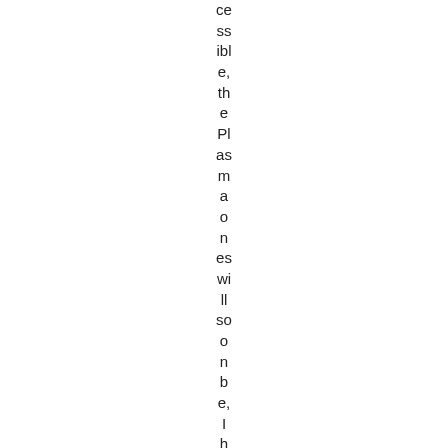cessible, the Plasmaones will soon be, I hope 🙂 When